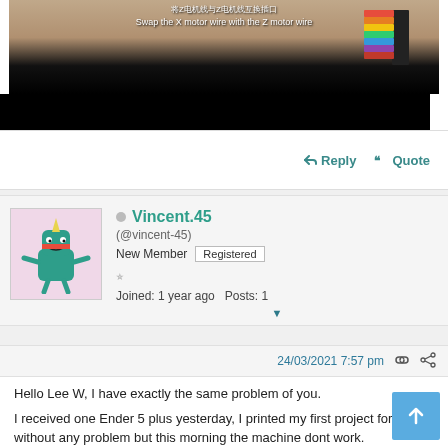[Figure (screenshot): Video screenshot showing rainbow cable with Chinese text and English subtitle 'Swap the X motor wire with the Z motor wire']
Reply   Quote
Vincent.45 (@vincent-45) New Member Registered Joined: 1 year ago Posts: 1
24/03/2021 7:57 pm
Hello Lee W, I have exactly the same problem of you.

I received one Ender 5 plus yesterday, I printed my first project for 4 hour without any problem but this morning the machine dont work.

I have make the same symptoms as you :